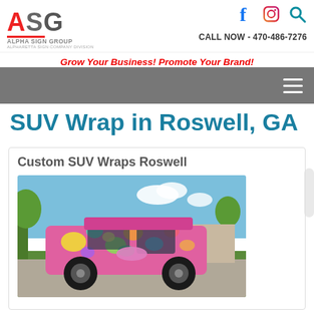[Figure (logo): Alpha Sign Group logo with red A, gray SG, red underline, 'ALPHA SIGN GROUP' and 'ALPHARETTA SIGN COMPANY DIVISION' text]
[Figure (infographic): Social media icons: Facebook (f), Instagram (camera), Search (magnifying glass)]
CALL NOW - 470-486-7276
Grow Your Business! Promote Your Brand!
[Figure (infographic): Gray navigation bar with hamburger menu icon (three white horizontal lines) on right]
SUV Wrap in Roswell, GA
Custom SUV Wraps Roswell
[Figure (photo): A colorful pink and multi-colored patterned wrapped Jeep SUV parked in a lot with trees and buildings in the background under a blue sky]